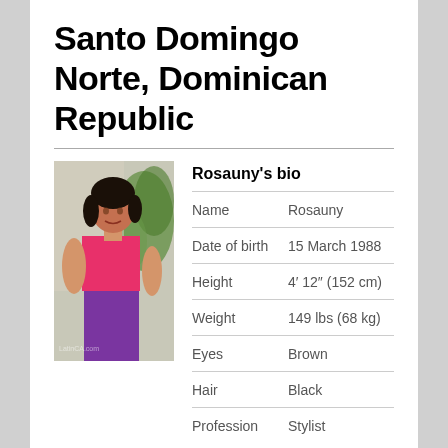Santo Domingo Norte, Dominican Republic
[Figure (photo): Photo of Rosauny, a young woman wearing a pink shirt and purple pants, standing outdoors near a wall with plants]
| Field | Value |
| --- | --- |
| Name | Rosauny |
| Date of birth | 15 March 1988 |
| Height | 4′ 12″ (152 cm) |
| Weight | 149 lbs (68 kg) |
| Eyes | Brown |
| Hair | Black |
| Profession | Stylist |